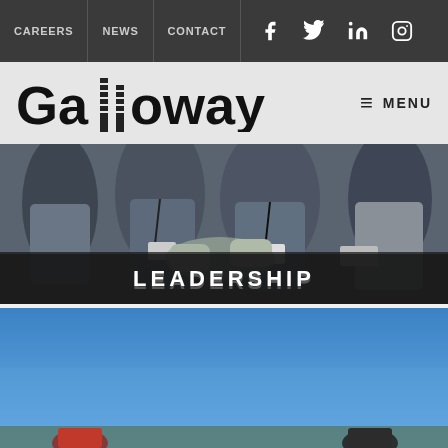CAREERS  NEWS  CONTACT  [Facebook] [Twitter] [LinkedIn] [Instagram]
[Figure (logo): Galloway company logo with stylized building icon replacing the double-l in Galloway]
≡ MENU
[Figure (photo): Group of people shaking hands at a conference, wearing lanyards and badges, with a dark overlay at bottom showing the word LEADERSHIP]
LEADERSHIP
[Figure (photo): People standing outdoors under a blue sky, partially visible at the bottom of the page]